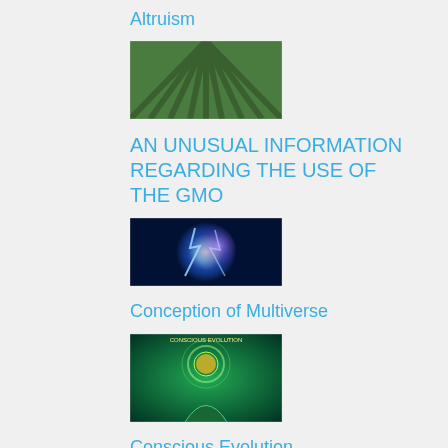Altruism
[Figure (photo): Aerial view of agricultural crop rows/field]
AN UNUSUAL INFORMATION REGARDING THE USE OF THE GMO
[Figure (photo): Glowing blue energy sphere or multiverse concept art]
Conception of Multiverse
[Figure (photo): Conscious Evolution book cover or art - person with glowing brain]
Conscious Evolution
[Figure (photo): Person sitting with head down, depression concept]
Depression has various reasons